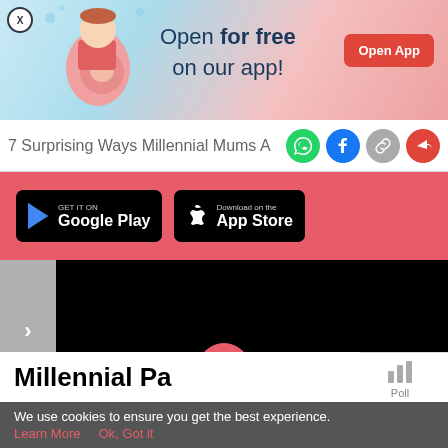[Figure (screenshot): App promotional banner with pregnancy illustration, 'Open for free on our app!' text and Open App button]
7 Surprising Ways Millennial Mums A
[Figure (screenshot): Google Play and App Store download buttons on pink background]
[Figure (screenshot): Content area with sidebar arrow and black video panel, with article heading 'Millennial Pa']
[Figure (screenshot): Bottom navigation bar with Tools, Articles, home (baby feet), Feed, Poll icons]
We use cookies to ensure you get the best experience.
Learn More   Ok, Got it